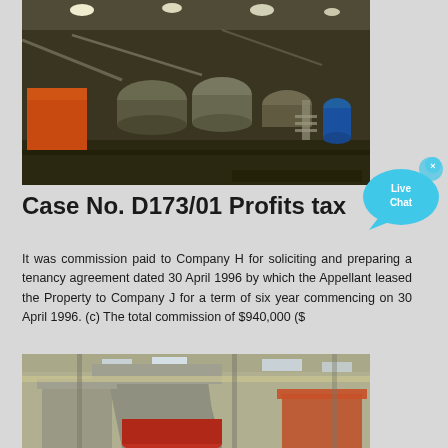[Figure (photo): Industrial factory interior with large machinery, cylindrical rollers and equipment on an assembly floor with overhead lighting]
[Figure (other): Live Chat speech bubble widget in cyan/blue color with 'x' close button]
Case No. D173/01 Profits tax
It was commission paid to Company H for soliciting and preparing a tenancy agreement dated 30 April 1996 by which the Appellant leased the Property to Company J for a term of six year commencing on 30 April 1996. (c) The total commission of $940,000 ($
[Figure (photo): Industrial factory interior showing large heavy machinery with crane overhead, red and gray equipment components]